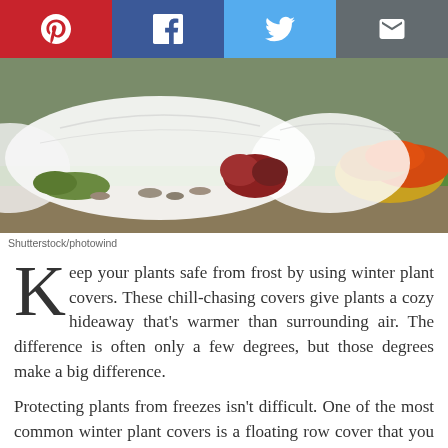[Figure (infographic): Social sharing bar with Pinterest (red), Facebook (dark blue), Twitter (light blue), and Email (gray) icons]
[Figure (photo): Garden scene with white floating row covers draped over plants in a garden bed, with colorful autumn foliage visible in the background]
Shutterstock/photowind
Keep your plants safe from frost by using winter plant covers. These chill-chasing covers give plants a cozy hideaway that’s warmer than surrounding air. The difference is often only a few degrees, but those degrees make a big difference.
Protecting plants from freezes isn’t difficult. One of the most common winter plant covers is a floating row cover that you toss over plants before a freeze arrives. These row covers work by excluding cold air and creating an insulating air pocket around plants. Heat